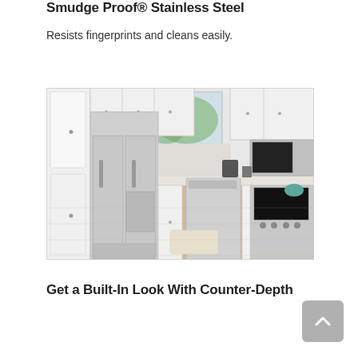Smudge Proof® Stainless Steel
Resists fingerprints and cleans easily.
[Figure (photo): A modern white kitchen with stainless steel appliances including a French door refrigerator, dishwasher, over-the-range microwave, and gas range. White cabinetry, light marble countertops, and light wood flooring.]
Get a Built-In Look With Counter-Depth Design